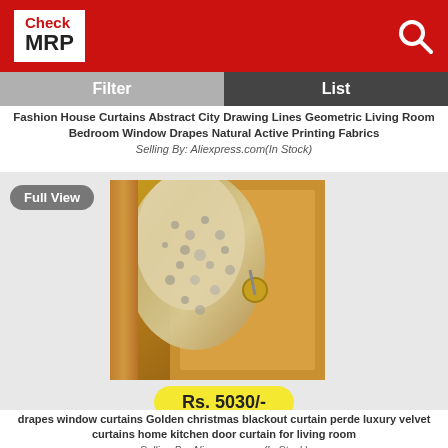Check MRP
Filter | List
Fashion House Curtains Abstract City Drawing Lines Geometric Living Room Bedroom Window Drapes Natural Active Printing Fabrics
Selling By: Aliexpress.com(In Stock)
Full View
[Figure (photo): Photo of ornate golden/beige curtain fabric tied back with decorative holdback on a wooden door backdrop]
Rs. 5030/-
drapes window curtains Golden christmas blackout curtain perde luxury velvet curtains home kitchen door curtain for living room
Selling By: Aliexpress.com(In Stock)